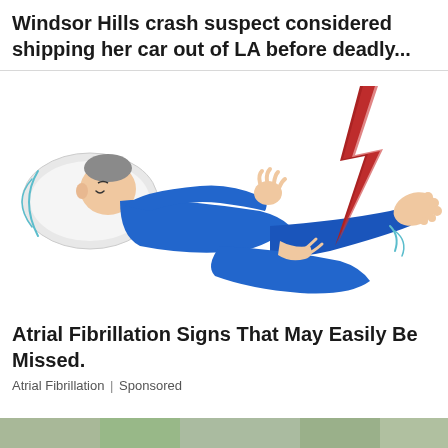Windsor Hills crash suspect considered shipping her car out of LA before deadly...
[Figure (illustration): Illustration of a person lying on a pillow in blue pajamas, with a red lightning bolt striking their leg/foot area, suggesting pain or spasm from atrial fibrillation.]
Atrial Fibrillation Signs That May Easily Be Missed.
Atrial Fibrillation | Sponsored
[Figure (photo): Partial photo strip at the bottom of the page, appears to show a landscape or outdoor scene.]